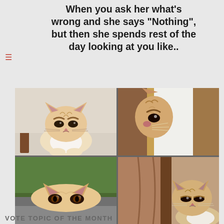When you ask her what's wrong and she says "Nothing", but then she spends rest of the day looking at you like..
[Figure (photo): Four-panel collage of cats with grumpy/suspicious expressions: top-left cat sitting under a table looking annoyed, top-right cat peering through a door crack with narrowed eyes, bottom-left cat's eyes barely visible over a ledge, bottom-right cat beside curtain with squinted grumpy look.]
f @Sarcasmlol    Sarcasmlol.com    u d y @Sarcastic_Us
VOTE TOPIC OF THE MONTH